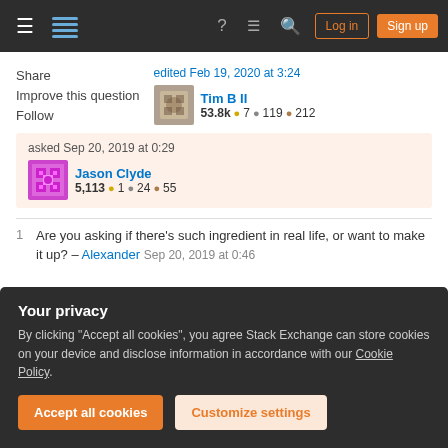Stack Exchange navigation bar with Log in and Sign up buttons
Share
Improve this question
Follow
edited Feb 19, 2020 at 3:24
Tim B II
53.8k ● 7 ● 119 ● 212
asked Sep 20, 2019 at 0:29
Jason Clyde
5,113 ● 1 ● 24 ● 55
1 Are you asking if there's such ingredient in real life, or want to make it up? – Alexander Sep 20, 2019 at 0:46
Your privacy
By clicking "Accept all cookies", you agree Stack Exchange can store cookies on your device and disclose information in accordance with our Cookie Policy.
Accept all cookies   Customize settings